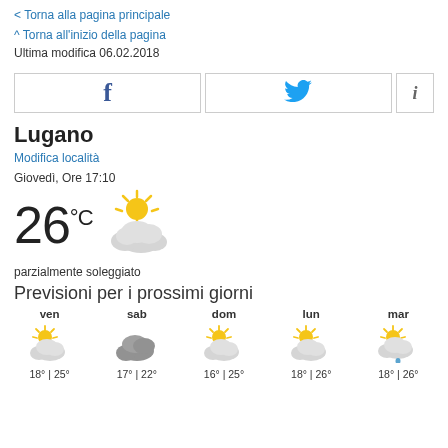< Torna alla pagina principale
^ Torna all'inizio della pagina
Ultima modifica 06.02.2018
[Figure (other): Social sharing buttons: Facebook, Twitter, and info icon]
Lugano
Modifica località
Giovedì, Ore 17:10
[Figure (other): Current weather: 26°C, partly sunny icon (sun behind cloud)]
parzialmente soleggiato
Previsioni per i prossimi giorni
[Figure (other): 5-day forecast icons and temperatures: ven (sun/cloud) 18°|25°, sab (cloud) 17°|22°, dom (sun/cloud) 16°|25°, lun (sun/cloud) 18°|26°, mar (sun/cloud/rain) 18°|26°]